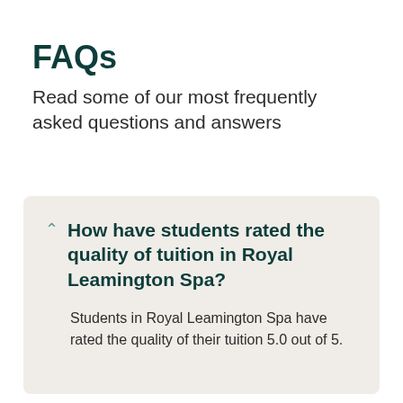FAQs
Read some of our most frequently asked questions and answers
How have students rated the quality of tuition in Royal Leamington Spa?
Students in Royal Leamington Spa have rated the quality of their tuition 5.0 out of 5.